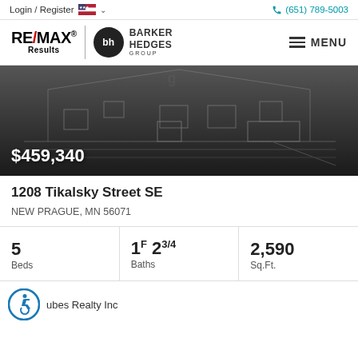Login / Register  (651) 789-5003
[Figure (logo): RE/MAX Results logo and Barker Hedges Group logo with MENU button]
[Figure (photo): Dark blueprint-style rendering of a house exterior with price overlay $459,340]
1208 Tikalsky Street SE
NEW PRAGUE, MN 56071
| Beds | Baths | Sq.Ft. |
| --- | --- | --- |
| 5 | 1F 23/4 | 2,590 |
ubes Realty Inc